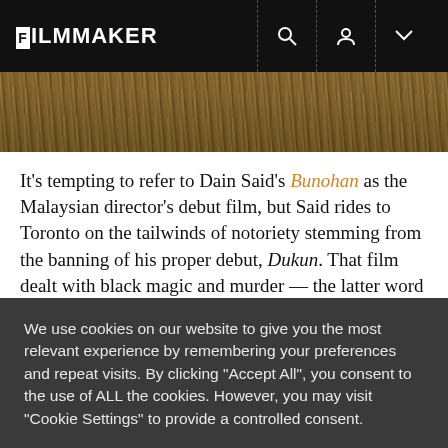FILMMAKER
[Figure (photo): Aerial or ground-level photo of dry grass/reeds in a field, brownish-golden tones, landscape scene likely from the film Bunohan]
It’s tempting to refer to Dain Said’s Bunohan as the Malaysian director’s debut film, but Said rides to Toronto on the tailwinds of notoriety stemming from the banning of his proper debut, Dukun. That film dealt with black magic and murder — the latter word being one meaning of his latest film’s title. (“Bunohan” also refers to a local
We use cookies on our website to give you the most relevant experience by remembering your preferences and repeat visits. By clicking “Accept All”, you consent to the use of ALL the cookies. However, you may visit “Cookie Settings” to provide a controlled consent.
Cookie Settings | Accept All